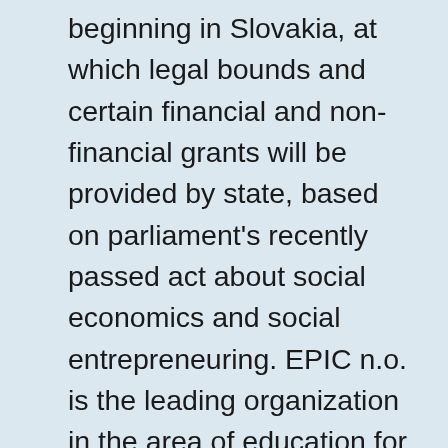beginning in Slovakia, at which legal bounds and certain financial and non-financial grants will be provided by state, based on parliament's recently passed act about social economics and social entrepreneuring. EPIC n.o. is the leading organization in the area of education for social entrepreneuring, considering the fact that we acquired official accreditation by Ministry of Education of the Slovak Republic in the September 2016 for educational programme “Municipal Social Entrepreneuring”. It was one of the main issues of “Strenghtening Capacities of